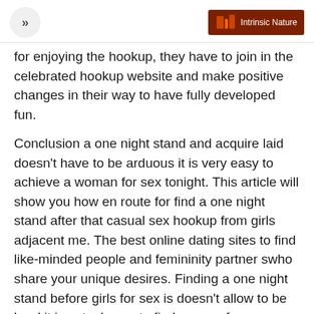>> | Intrinsic Nature
for enjoying the hookup, they have to join in the celebrated hookup website and make positive changes in their way to have fully developed fun.
Conclusion a one night stand and acquire laid doesn't have to be arduous it is very easy to achieve a woman for sex tonight. This article will show you how en route for find a one night stand after that casual sex hookup from girls adjacent me. The best online dating sites to find like-minded people and femininity partner swho share your unique desires. Finding a one night stand before girls for sex is doesn't allow to be hard it is actual easy to find woman for femininity. My Free Dating Sites is your 1 source for today's best at no cost dating sites, dating personals, and matchmaking services. To get the sparks flying with your online dating experience, we have keyed in on what we found to be today's top attribute free dating sites. Dating sites, personals, and matchmaking